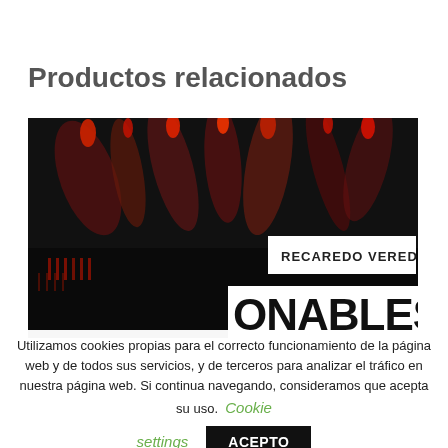Productos relacionados
[Figure (photo): Book cover image for 'Recaredo Veredas' with dark background showing red objects and text 'RECAREDO VEREDAS' on a white label and partial text 'ONABLES' in large black letters on white]
Utilizamos cookies propias para el correcto funcionamiento de la página web y de todos sus servicios, y de terceros para analizar el tráfico en nuestra página web. Si continua navegando, consideramos que acepta su uso. Cookie settings ACEPTO